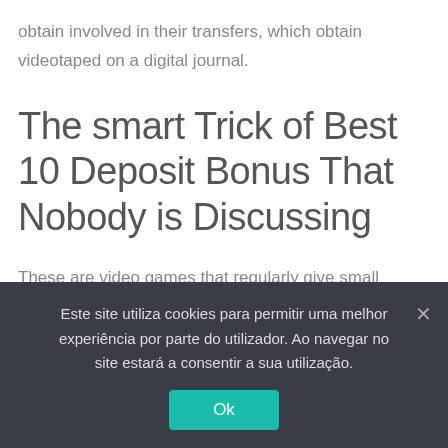obtain involved in their transfers, which obtain videotaped on a digital journal.
The smart Trick of Best 10 Deposit Bonus That Nobody is Discussing
These are video games that regularly give small victories. They will not make you rich. Though, they do use the most effective probabilities of you keeping a favorable balance. Additionally,
Este site utiliza cookies para permitir uma melhor experiência por parte do utilizador. Ao navegar no site estará a consentir a sua utilização.